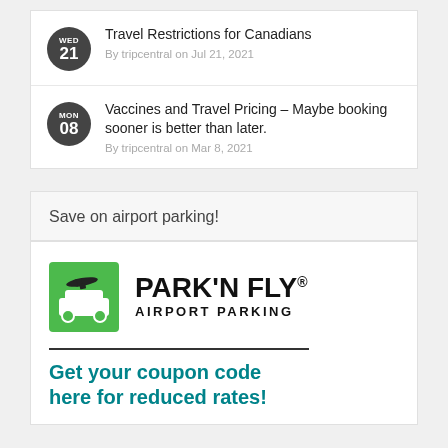Travel Restrictions for Canadians
By tripcentral on Jul 21, 2021
Vaccines and Travel Pricing – Maybe booking sooner is better than later.
By tripcentral on Mar 8, 2021
Save on airport parking!
[Figure (logo): Park'N Fly Airport Parking logo with green car icon and airplane silhouette]
Get your coupon code here for reduced rates!